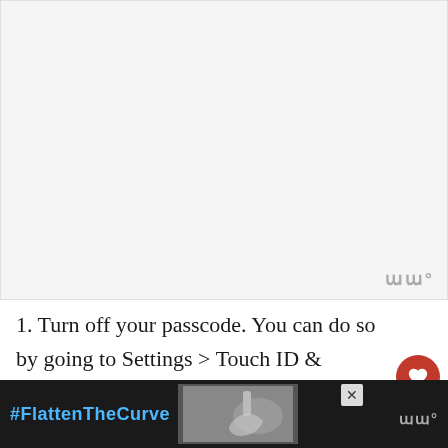[Figure (photo): Large light gray image placeholder area at the top of the page]
1. Turn off your passcode. You can do so by going to Settings > Touch ID & Passcode > Enter your passcode > Turn Passcode Off > Enter your passcode > Turn Off > Enter your passcode again.
[Figure (screenshot): Bottom advertisement bar with dark background showing '#FlattenTheCurve' hashtag in blue, a photo of hands washing at a faucet, an X close button, and a Wiremo watermark]